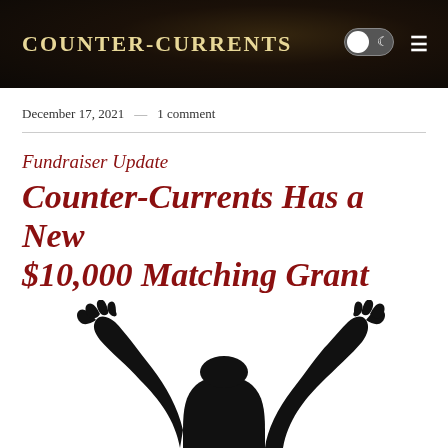Counter-Currents
December 17, 2021 — 1 comment
Fundraiser Update
Counter-Currents Has a New $10,000 Matching Grant
Greg Johnson
[Figure (illustration): Black silhouette of a person with arms raised upward against a white background, visible from roughly mid-torso up, with hands spread wide]